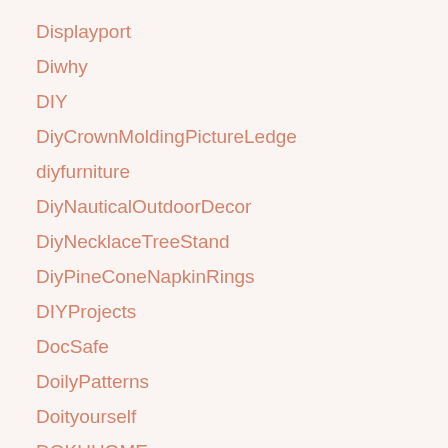Displayport
Diwhy
DIY
DiyCrownMoldingPictureLedge
diyfurniture
DiyNauticalOutdoorDecor
DiyNecklaceTreeStand
DiyPineConeNapkinRings
DIYProjects
DocSafe
DoilyPatterns
Doityourself
DOKUHOME
DollarTree
DomesticScience